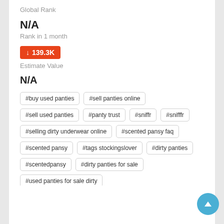Global Rank
N/A
Rank in 1 month
↓ 139.3K
Estimate Value
N/A
#buy used panties
#sell panties online
#sell used panties
#panty trust
#sniffr
#snifffr
#selling dirty underwear online
#scented pansy faq
#scented pansy
#tags stockingslover
#dirty panties
#scentedpansy
#dirty panties for sale
#used panties for sale dirty